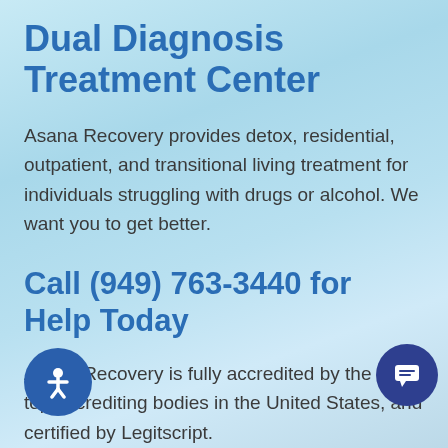Dual Diagnosis Treatment Center
Asana Recovery provides detox, residential, outpatient, and transitional living treatment for individuals struggling with drugs or alcohol. We want you to get better.
Call (949) 763-3440 for Help Today
Asana Recovery is fully accredited by the three top accrediting bodies in the United States, and certified by Legitscript.